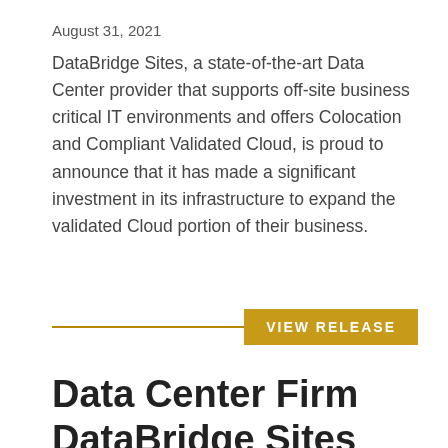August 31, 2021
DataBridge Sites, a state-of-the-art Data Center provider that supports off-site business critical IT environments and offers Colocation and Compliant Validated Cloud, is proud to announce that it has made a significant investment in its infrastructure to expand the validated Cloud portion of their business.
VIEW RELEASE
Data Center Firm DataBridge Sites